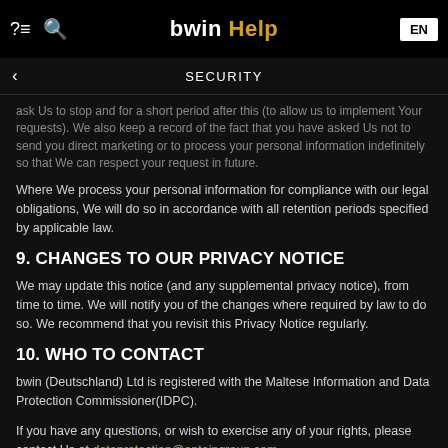bwin Help
SECURITY
ask Us to stop and for a short period after this (to allow us to implement Your requests). We also keep a record of the fact that you have asked Us not to send you direct marketing or to process your personal information indefinitely so that We can respect your request in future.
Where We process your personal information for compliance with our legal obligations, We will do so in accordance with all retention periods specified by applicable law.
9. CHANGES TO OUR PRIVACY NOTICE
We may update this notice (and any supplemental privacy notice), from time to time. We will notify you of the changes where required by law to do so. We recommend that you revisit this Privacy Notice regularly.
10. WHO TO CONTACT
bwin (Deutschland) Ltd is registered with the Maltese Information and Data Protection Commissioner(IDPC).
If you have any questions, or wish to exercise any of your rights, please contact Us at dataprotection@entaingroup.com.
If your country has a data protection authority, you have the right to contact it with any questions or concerns. If we cannot resolve your questions or concerns, you also have the right to seek judicial remedy before a national court.
Modified/Created 15.10.2020